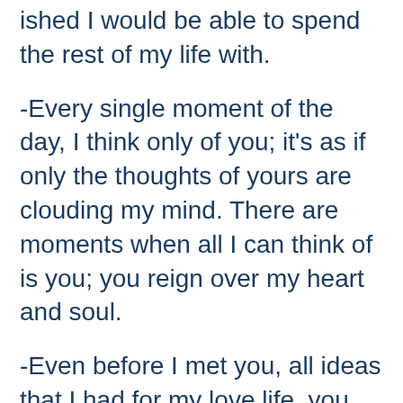ished I would be able to spend the rest of my life with.
-Every single moment of the day, I think only of you; it's as if only the thoughts of yours are clouding my mind. There are moments when all I can think of is you; you reign over my heart and soul.
-Even before I met you, all ideas that I had for my love life, you fulfilled all of those for me, you became who I had always wanted; you became mine.
Letters For Husband